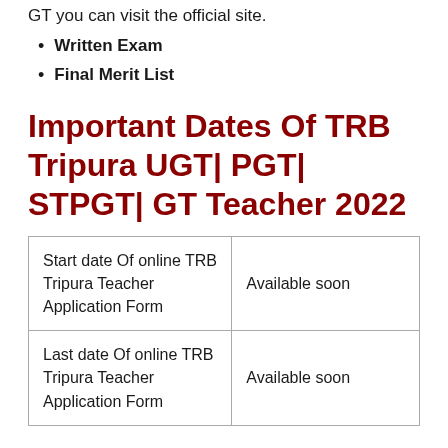GT you can visit the official site.
Written Exam
Final Merit List
Important Dates Of TRB Tripura UGT| PGT| STPGT| GT Teacher 2022
| Start date Of online TRB Tripura Teacher Application Form | Available soon |
| Last date Of online TRB Tripura Teacher Application Form | Available soon |